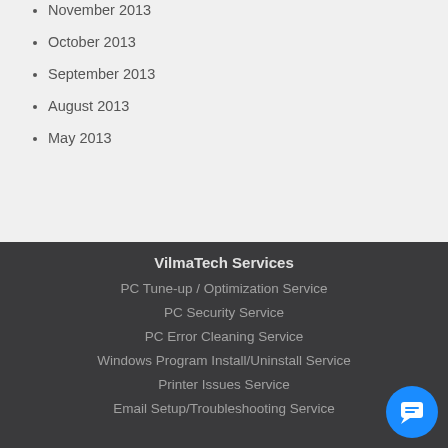November 2013
October 2013
September 2013
August 2013
May 2013
VilmaTech Services
PC Tune-up / Optimization Service
PC Security Service
PC Error Cleaning Service
Windows Program Install/Uninstall Service
Printer Issues Service
Email Setup/Troubleshooting Service